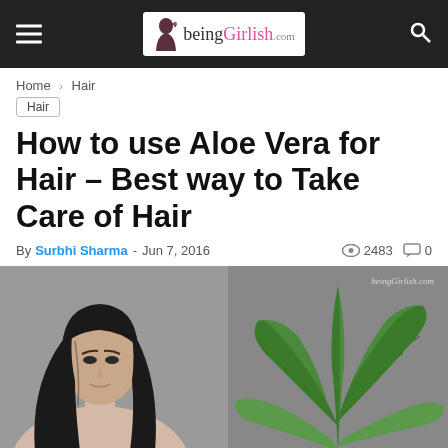beingGirlish.com navigation bar
Home > Hair
Hair
How to use Aloe Vera for Hair – Best way to Take Care of Hair
By Surbhi Sharma - Jun 7, 2016  2483  0
[Figure (photo): Woman with long straight dark hair next to a green aloe vera plant on grey background, with beingGirlish.com watermark]